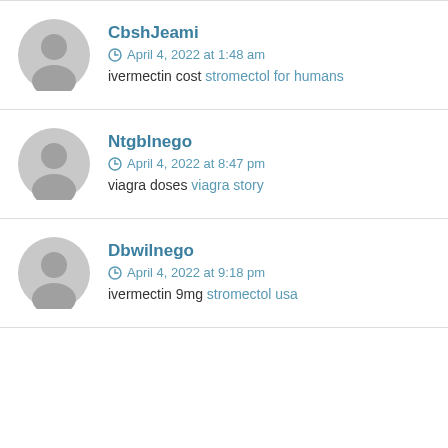CbshJeami — April 4, 2022 at 1:48 am — ivermectin cost stromectol for humans
Ntgblnego — April 4, 2022 at 8:47 pm — viagra doses viagra story
Dbwilnego — April 4, 2022 at 9:18 pm — ivermectin 9mg stromectol usa